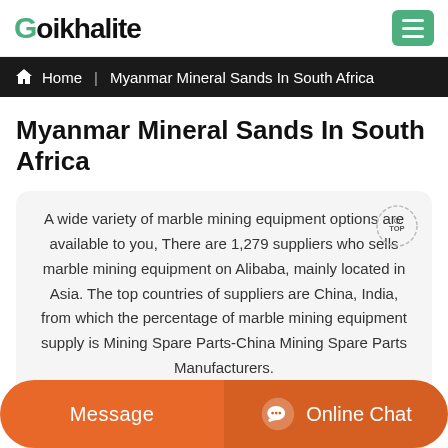Goikhalite
Home | Myanmar Mineral Sands In South Africa
Myanmar Mineral Sands In South Africa
A wide variety of marble mining equipment options are available to you, There are 1,279 suppliers who sells marble mining equipment on Alibaba, mainly located in Asia. The top countries of suppliers are China, India, from which the percentage of marble mining equipment supply is Mining Spare Parts-China Mining Spare Parts Manufacturers.